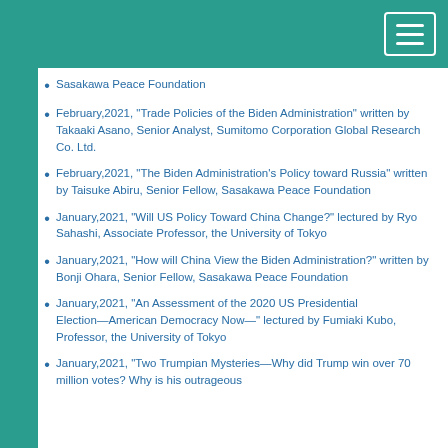Sasakawa Peace Foundation
February,2021, "Trade Policies of the Biden Administration" written by Takaaki Asano, Senior Analyst, Sumitomo Corporation Global Research Co. Ltd.
February,2021, "The Biden Administration's Policy toward Russia" written by Taisuke Abiru, Senior Fellow, Sasakawa Peace Foundation
January,2021, "Will US Policy Toward China Change?" lectured by Ryo Sahashi, Associate Professor, the University of Tokyo
January,2021, "How will China View the Biden Administration?" written by Bonji Ohara, Senior Fellow, Sasakawa Peace Foundation
January,2021, "An Assessment of the 2020 US Presidential Election―American Democracy Now―" lectured by Fumiaki Kubo, Professor, the University of Tokyo
January,2021, "Two Trumpian Mysteries―Why did Trump win over 70 million votes? Why is his outrageous